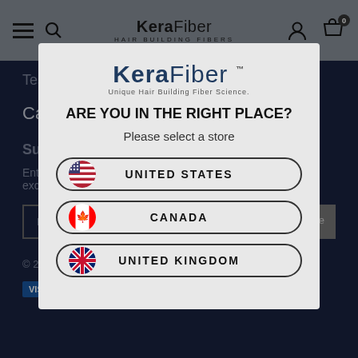KeraFiber · HAIR BUILDING FIBERS
Testimonials
Careers
Subscribe To Our Newsletter
Enter your email below to receive special offers, exclusive discounts and many more!
[Figure (screenshot): Email address input field with Subscribe button]
© 202 KeraFiber
[Figure (infographic): Payment icons including VISA, American Express, Discover, MasterCard, PayPal]
[Figure (logo): KeraFiber logo with text 'Unique Hair Building Fiber Science']
ARE YOU IN THE RIGHT PLACE?
Please select a store
UNITED STATES
CANADA
UNITED KINGDOM